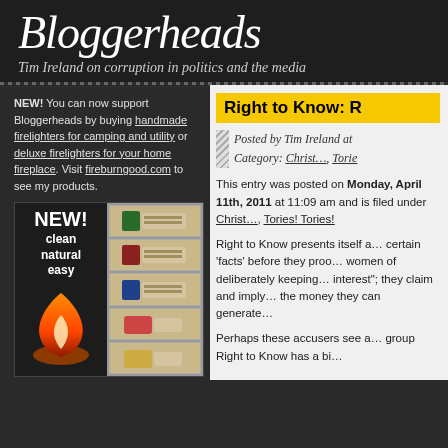Bloggerheads
Tim Ireland on corruption in politics and the media
NEW! You can now support Bloggerheads by buying handmade firelighters for camping and utility or deluxe firelighters for your home fireplace. Visit fireburngood.com to see my products.
[Figure (photo): Advertisement for firelighters showing flame and product packages with text NEW! clean natural easy]
[Figure (other): Right to Know: R... post title bar in yellow]
Posted by Tim Ireland at ... Category: Christ..., Torie...
This entry was posted on Monday, April 11th, 2011 at 11:09 am and is filed under Christ..., Tories! Tories!...
Right to Know presents itself a... certain 'facts' before they proo... women of deliberately keeping... interest"; they claim and imply... the money they can generate...
Perhaps these accusers see a... group Right to Know has a bi...